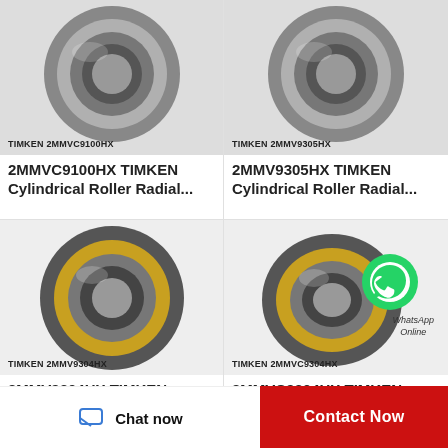[Figure (photo): Product photo of TIMKEN 2MMVC9100HX cylindrical roller bearing, dark metallic, labeled at bottom left]
2MMVC9100HX TIMKEN Cylindrical Roller Radial...
[Figure (photo): Product photo of TIMKEN 2MMV9305HX cylindrical roller bearing, dark metallic, labeled at bottom left]
2MMV9305HX TIMKEN Cylindrical Roller Radial...
[Figure (photo): Product photo of TIMKEN 2MMV9304HX cylindrical roller bearing with gold retainer, labeled at bottom left]
2MMV9304HX TIMKEN Cylindrical Roller Radial...
[Figure (photo): Product photo of TIMKEN 2MMVC9304HX cylindrical roller bearing with gold/brass cage and WhatsApp Online badge overlay, labeled at bottom left]
2MMVC9304HX TIMKEN Cylindrical Roller Radial...
Chat now
Contact Now